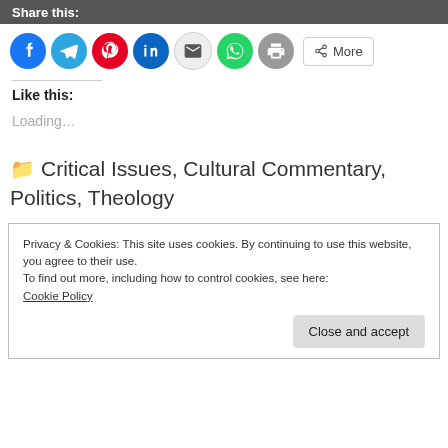Share this:
[Figure (other): Social sharing icons row: Facebook, Telegram, Pinterest, LinkedIn, Email, WhatsApp, Print, and More button]
Like this:
Loading…
Critical Issues, Cultural Commentary, Politics, Theology
Privacy & Cookies: This site uses cookies. By continuing to use this website, you agree to their use.
To find out more, including how to control cookies, see here:
Cookie Policy
Close and accept